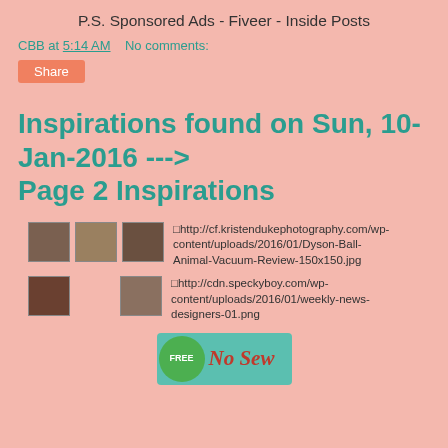P.S. Sponsored Ads - Fiveer - Inside Posts
CBB at 5:14 AM    No comments:
Share
Inspirations found on Sun, 10-Jan-2016 ---> Page 2 Inspirations
[Figure (photo): Row of thumbnail images with broken image link: http://cf.kristendukephotography.com/wp-content/uploads/2016/01/Dyson-Ball-Animal-Vacuum-Review-150x150.jpg]
[Figure (photo): Row of thumbnail images with broken image link: http://cdn.speckyboy.com/wp-content/uploads/2016/01/weekly-news-designers-01.png]
[Figure (illustration): Partial badge/banner image with green FREE badge and cursive text 'No Sew']